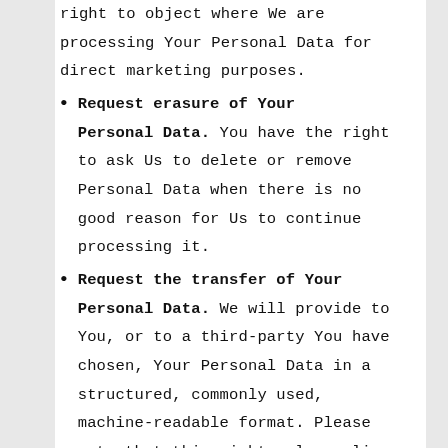right to object where We are processing Your Personal Data for direct marketing purposes.
Request erasure of Your Personal Data. You have the right to ask Us to delete or remove Personal Data when there is no good reason for Us to continue processing it.
Request the transfer of Your Personal Data. We will provide to You, or to a third-party You have chosen, Your Personal Data in a structured, commonly used, machine-readable format. Please note that this right only applies to automated information which You initially provided consent for Us to